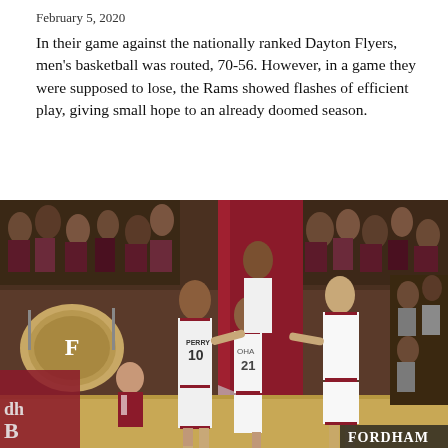February 5, 2020
In their game against the nationally ranked Dayton Flyers, men's basketball was routed, 70-56. However, in a game they were supposed to lose, the Rams showed flashes of efficient play, giving small hope to an already doomed season.
[Figure (photo): Fordham Rams men's basketball players in white uniforms huddle together on the court, including player #10 Perry and player #21, with a maroon banner and crowd visible in the background. 'FORDHAM' text visible in bottom right corner.]